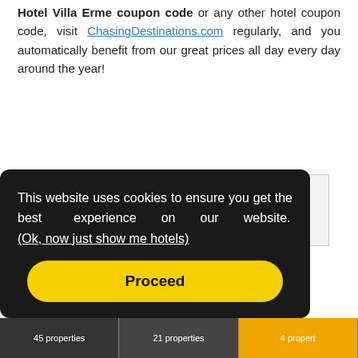Hotel Villa Erme coupon code or any other hotel coupon code, visit ChasingDestinations.com regularly, and you automatically benefit from our great prices all day every day around the year!
Click To See The Best Rate For This Hotel
[Figure (illustration): Red square icon with white building/hotel grid symbol]
This website uses cookies to ensure you get the best experience on our website. (Ok, now just show me hotels)
Proceed
45 properties  21 properties  4 propert